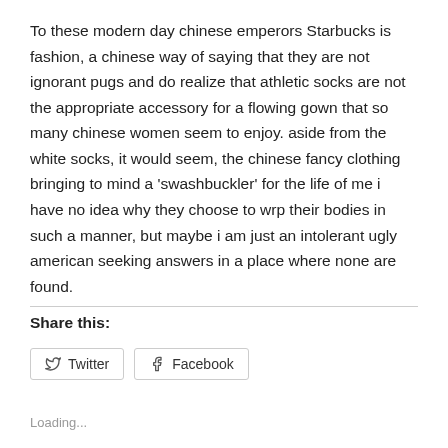To these modern day chinese emperors Starbucks is fashion, a chinese way of saying that they are not ignorant pugs and do realize that athletic socks are not the appropriate accessory for a flowing gown that so many chinese women seem to enjoy. aside from the white socks, it would seem, the chinese fancy clothing bringing to mind a ‘swashbuckler’ for the life of me i have no idea why they choose to wrp their bodies in such a manner, but maybe i am just an intolerant ugly american seeking answers in a place where none are found.
Share this:
Loading...